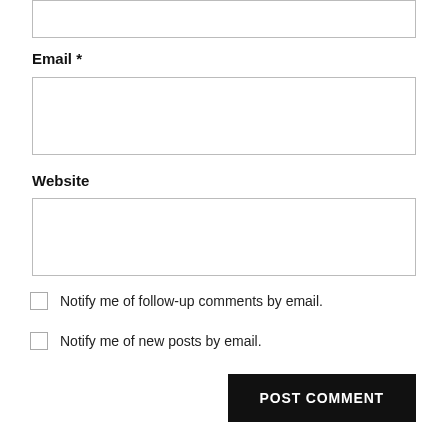[Figure (screenshot): Top portion of a web comment form showing a partially visible input box (top of page, cut off).]
Email *
[Figure (screenshot): Email input text field, empty, with border.]
Website
[Figure (screenshot): Website input text field, empty, with border.]
Notify me of follow-up comments by email.
Notify me of new posts by email.
Post Comment